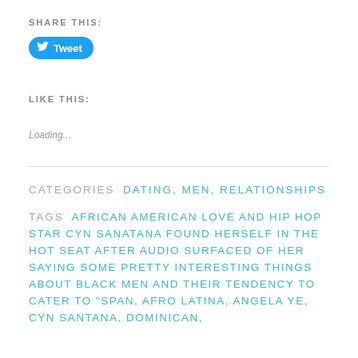SHARE THIS:
[Figure (other): Twitter Tweet button - blue rounded rectangle with bird icon and 'Tweet' text]
LIKE THIS:
Loading...
CATEGORIES  DATING, MEN, RELATIONSHIPS
TAGS  AFRICAN AMERICAN LOVE AND HIP HOP STAR CYN SANATANA FOUND HERSELF IN THE HOT SEAT AFTER AUDIO SURFACED OF HER SAYING SOME PRETTY INTERESTING THINGS ABOUT BLACK MEN AND THEIR TENDENCY TO CATER TO "SPAN, AFRO LATINA, ANGELA YE, CYN SANTANA, DOMINICAN,